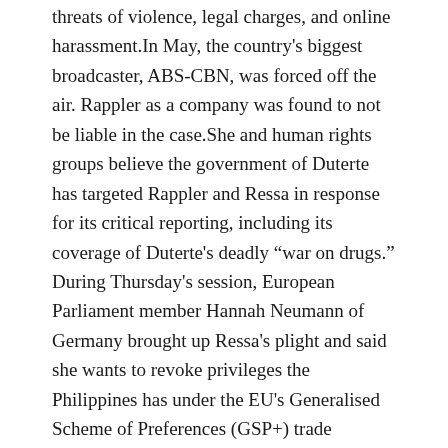threats of violence, legal charges, and online harassment.In May, the country's biggest broadcaster, ABS-CBN, was forced off the air. Rappler as a company was found to not be liable in the case.She and human rights groups believe the government of Duterte has targeted Rappler and Ressa in response for its critical reporting, including its coverage of Duterte's deadly “war on drugs.” During Thursday's session, European Parliament member Hannah Neumann of Germany brought up Ressa's plight and said she wants to revoke privileges the Philippines has under the EU's Generalised Scheme of Preferences (GSP+) trade arrangement, which allows developing countries to pay less or no duties on their exports to the EU. European Parliament calls on Philippines to drop charges against Rappler journalist Maria Ressa
By Christopher Brito
September 17, 2020 / 5:08 PM / CBS News
Fake news, real consequences
Fake news, real consequences